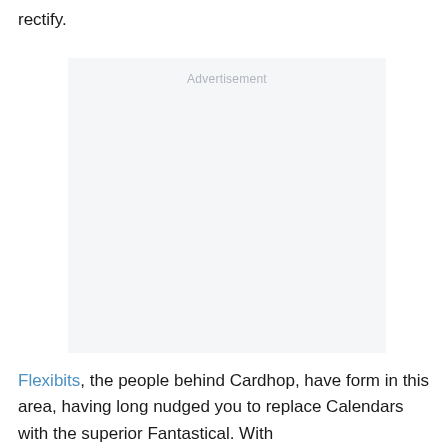rectify.
[Figure (other): Advertisement placeholder box with light grey background and 'Advertisement' label at top center.]
Flexibits, the people behind Cardhop, have form in this area, having long nudged you to replace Calendars with the superior Fantastical. With